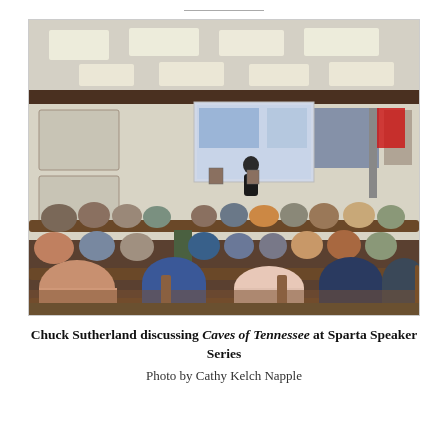[Figure (photo): A crowded meeting room or courthouse chamber with rows of wooden pews filled with audience members seated with their backs to the camera. At the front, a speaker stands near a large projected presentation screen. An American flag is visible in the background along with framed artwork on the walls and fluorescent ceiling lights.]
Chuck Sutherland discussing Caves of Tennessee at Sparta Speaker Series
Photo by Cathy Kelch Napple